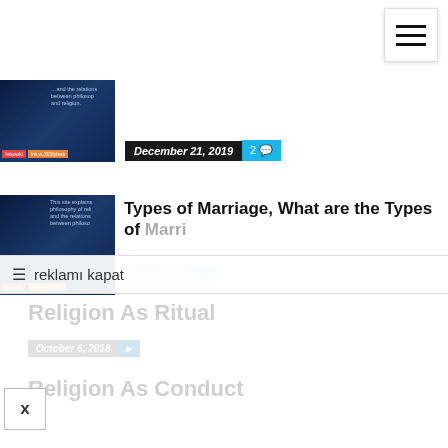[Figure (screenshot): Website page showing a list of articles about religion and philosophy. Has hamburger menu icon in top right, article thumbnails with dark blue brain/space images, article titles and dates. Overlay shows 'reklamı kapat' (close ad) banner. Articles visible: Types of Marriage, Religion As Ritual, Religion As Conduct, Religion As Feeling.]
Types of Marriage, What are the Types of Marriage
December 21, 2019
July 2, 2021
Religion As Ritual
October 6, 2018
Religion As Conduct
October 6, 2018
Religion As Feeling
October 6, 2018
☰ reklamı kapat